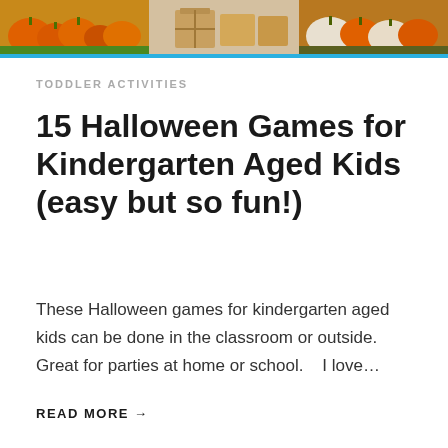[Figure (photo): Banner image showing Halloween-themed photos: orange pumpkins on grass, stacked gift boxes, and orange and white pumpkins]
TODDLER ACTIVITIES
15 Halloween Games for Kindergarten Aged Kids (easy but so fun!)
These Halloween games for kindergarten aged kids can be done in the classroom or outside.   Great for parties at home or school.    I love…
READ MORE →